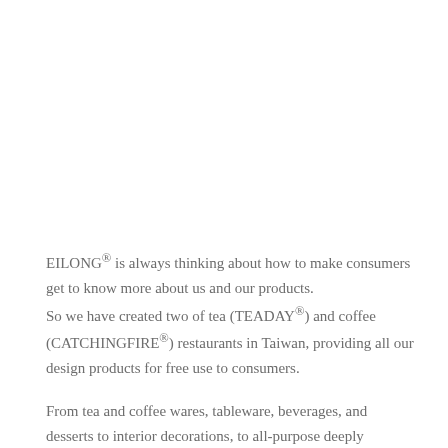EILONG® is always thinking about how to make consumers get to know more about us and our products. So we have created two of tea (TEADAY®) and coffee (CATCHINGFIRE®) restaurants in Taiwan, providing all our design products for free use to consumers.

From tea and coffee wares, tableware, beverages, and desserts to interior decorations, to all-purpose deeply thinking.